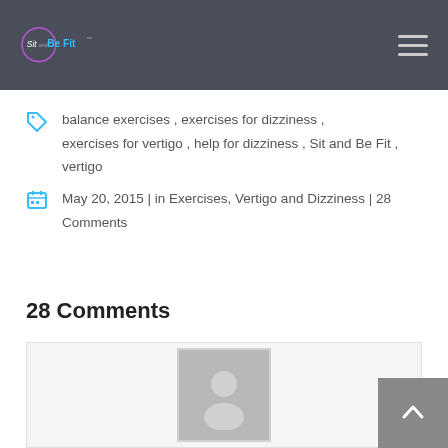Sit and Be Fit
balance exercises , exercises for dizziness , exercises for vertigo , help for dizziness , Sit and Be Fit , vertigo
May 20, 2015 | in Exercises, Vertigo and Dizziness | 28 Comments
28 Comments
[Figure (illustration): Generic user avatar placeholder image inside a comment box]